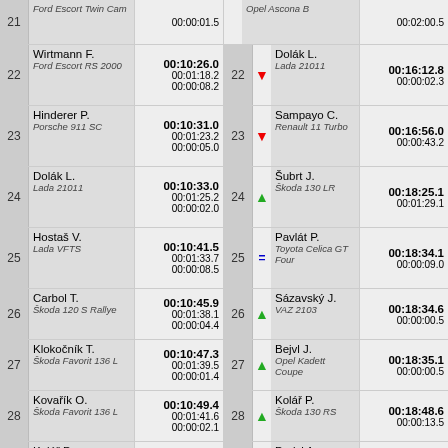| Pos | Driver/Car | Times | Pos | Arrow | Driver/Car | Times |
| --- | --- | --- | --- | --- | --- | --- |
| 21 | Ford Escort Twin Cam | 00:01:10.0 / 00:00:01.5 |  | up | Opel Ascona B | 00:02:00.5 |
| 22 | Wirtmann F. / Ford Escort RS 2000 | 00:10:26.0 / 00:01:18.2 / 00:00:08.2 | 22 | down | Dolák L. / Lada 21011 | 00:16:12.8 / 00:00:02.3 |
| 23 | Hinderer P. / Porsche 911 SC | 00:10:31.0 / 00:01:23.2 / 00:00:05.0 | 23 | down | Sampayo C. / Renault 11 Turbo | 00:16:56.0 / 00:00:43.2 |
| 24 | Dolák L. / Lada 21011 | 00:10:33.0 / 00:01:25.2 / 00:00:02.0 | 24 | up | Šubrt J. / Škoda 130 LR | 00:18:25.1 / 00:01:29.1 |
| 25 | Hostaš V. / Lada VFTS | 00:10:41.5 / 00:01:33.7 / 00:00:08.5 | 25 | eq | Pavlát P. / Toyota Celica GT Four | 00:18:34.1 / 00:00:09.0 |
| 26 | Carbol T. / Škoda 120 S Rallye | 00:10:45.9 / 00:01:38.1 / 00:00:04.4 | 26 | up | Sázavský J. / VAZ 2103 | 00:18:34.6 / 00:00:00.5 |
| 27 | Klokočník T. / Škoda Favorit 136 L | 00:10:47.3 / 00:01:39.5 / 00:00:01.4 | 27 | up | Bejvl J. / Opel Kadett Coupe | 00:18:35.1 / 00:00:00.5 |
| 28 | Kovařík O. / Škoda Favorit 136 L | 00:10:49.4 / 00:01:41.6 / 00:00:02.1 | 28 | up | Kolář P. / Škoda 130 RS | 00:18:48.6 / 00:00:13.5 |
| 29 | Kolář P. / Škoda 130 RS | 00:10:49.5 / 00:01:41.7 / 00:00:00.1 | 29 | eq | Parisi A. / Porsche 911 S | 00:18:52.0 / 00:00:03.4 |